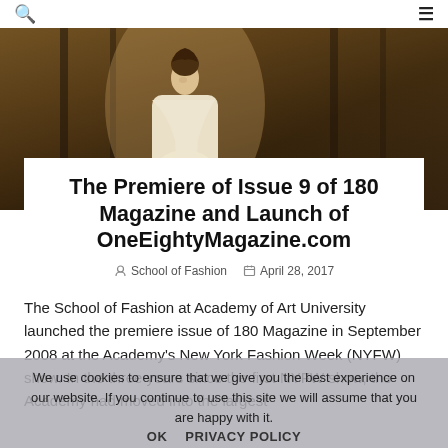Search | Menu
[Figure (photo): Hero image of a woman in a white draped garment standing in a dark ornate interior backdrop]
The Premiere of Issue 9 of 180 Magazine and Launch of OneEightyMagazine.com
School of Fashion   April 28, 2017
The School of Fashion at Academy of Art University launched the premiere issue of 180 Magazine in September 2008 at the Academy's New York Fashion Week (NYFW) show. In the three years since the first NYFW show, the Academy had moved into the largest
We use cookies to ensure that we give you the best experience on our website. If you continue to use this site we will assume that you are happy with it.
OK   PRIVACY POLICY